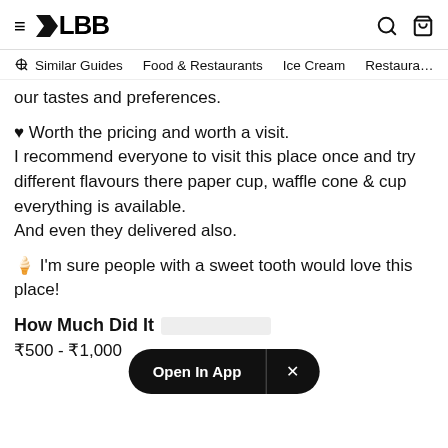≡ ZLBB [search icon] [bag icon]
Similar Guides   Food & Restaurants   Ice Cream   Restaura…
our tastes and preferences.
♥ Worth the pricing and worth a visit.
I recommend everyone to visit this place once and try different flavours there paper cup, waffle cone & cup everything is available.
And even they delivered also.
🍦 I'm sure people with a sweet tooth would love this place!
How Much Did It Cost?
₹500 - ₹1,000